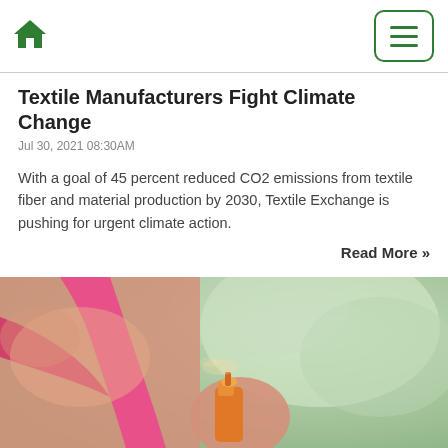Home icon and menu button
Textile Manufacturers Fight Climate Change
Jul 30, 2021 08:30AM
With a goal of 45 percent reduced CO2 emissions from textile fiber and material production by 2030, Textile Exchange is pushing for urgent climate action.
Read More »
[Figure (photo): Person applying sunscreen spray, wearing a pink top, with blurred green background]